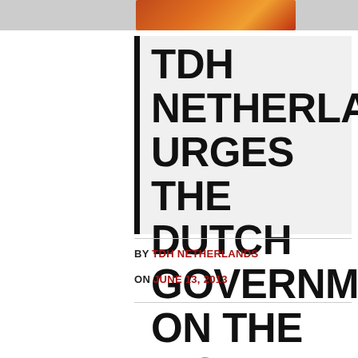[Figure (photo): Partial photo of a child, warm orange/red tones, cropped at top of page]
TDH NETHERLANDS URGES THE DUTCH GOVERNMENT ON THE WORLD DAY AGAINST CHILD LABOUR
BY TDH NETHERLANDS
ON JUNE 13, 2013